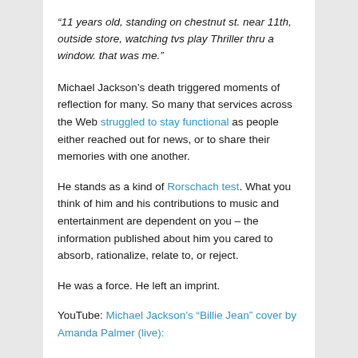“11 years old, standing on chestnut st. near 11th, outside store, watching tvs play Thriller thru a window. that was me.”
Michael Jackson’s death triggered moments of reflection for many. So many that services across the Web struggled to stay functional as people either reached out for news, or to share their memories with one another.
He stands as a kind of Rorschach test. What you think of him and his contributions to music and entertainment are dependent on you – the information published about him you cared to absorb, rationalize, relate to, or reject.
He was a force. He left an imprint.
YouTube: Michael Jackson’s “Billie Jean” cover by Amanda Palmer (live):